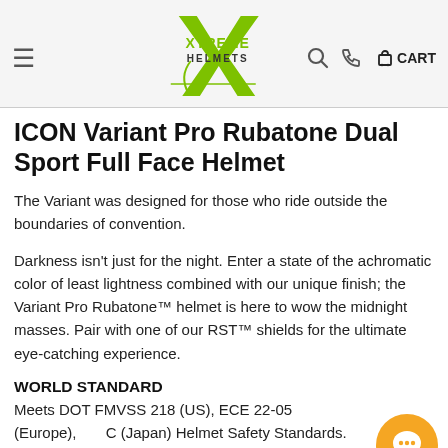Xtreme Helmets — navigation header with logo, search, phone, and cart icons
ICON Variant Pro Rubatone Dual Sport Full Face Helmet
The Variant was designed for those who ride outside the boundaries of convention.
Darkness isn't just for the night. Enter a state of the achromatic color of least lightness combined with our unique finish; the Variant Pro Rubatone™ helmet is here to wow the midnight masses. Pair with one of our RST™ shields for the ultimate eye-catching experience.
WORLD STANDARD
Meets DOT FMVSS 218 (US), ECE 22-05 (Europe), PSC (Japan) Helmet Safety Standards. Does not ship with PSC